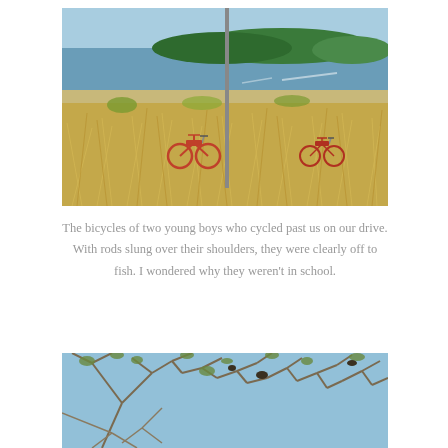[Figure (photo): Two bicycles leaning against a utility pole in tall dry grass near a coastal waterway with green mangroves in the background and blue sky above.]
The bicycles of two young boys who cycled past us on our drive. With rods slung over their shoulders, they were clearly off to fish. I wondered why they weren't in school.
[Figure (photo): Close-up of bare tree branches with sparse leaves against a blue sky, with some birds or nests visible in the branches.]